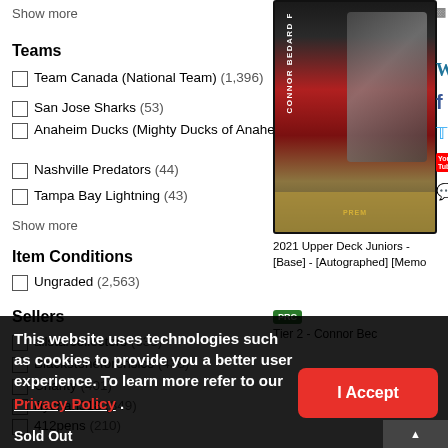$1,526.17
Show more
Teams
Team Canada (National Team) (1,396)
San Jose Sharks (53)
Anaheim Ducks (Mighty Ducks of Anaheim) (47)
Nashville Predators (44)
Tampa Bay Lightning (43)
Show more
Item Conditions
Ungraded (2,563)
Sellers
allstarcollectors (633)
Blackstoneforensics (438)
Charity (401)
lilychan318 (349)
412pens (210)
[Figure (photo): Hockey trading card featuring Connor Bedard in a Team Canada jersey]
2021 Upper Deck Juniors - [Base] - [Autographed] [Memo
PRC
Tier 2 - Connor Bec
This website uses technologies such as cookies to provide you a better user experience. To learn more refer to our Privacy Policy .
I Accept
Sold Out